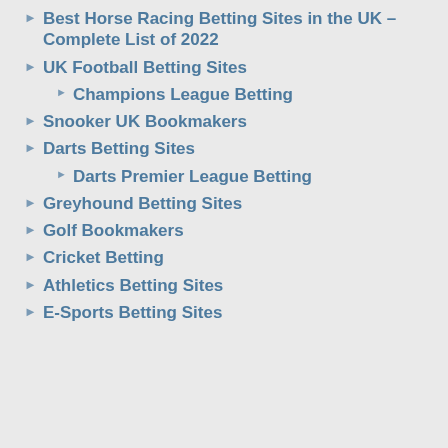Best Horse Racing Betting Sites in the UK – Complete List of 2022
UK Football Betting Sites
Champions League Betting
Snooker UK Bookmakers
Darts Betting Sites
Darts Premier League Betting
Greyhound Betting Sites
Golf Bookmakers
Cricket Betting
Athletics Betting Sites
E-Sports Betting Sites